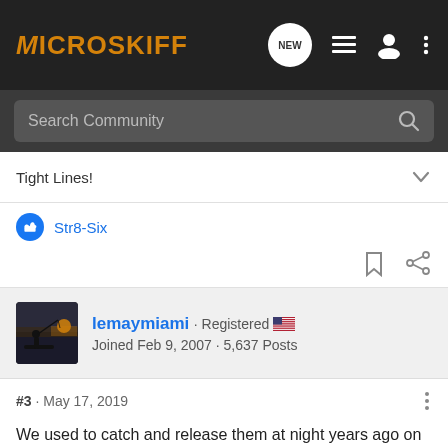MICROSKIFF
Search Community
Tight Lines!
Str8-Six
lemaymiami · Registered
Joined Feb 9, 2007 · 5,637 Posts
#3 · May 17, 2019
We used to catch and release them at night years ago on both spin and fly gear... big ones too.

We weren't up on the flats, but worked channel edges that fish were holding along and feeding on what the current brought.